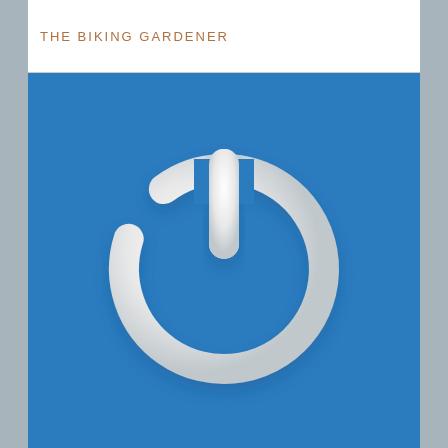THE BIKING GARDENER
[Figure (logo): A white power button icon (circle with a vertical line at the top) on a blue background, rendered with a soft 3D/glossy white appearance suggesting a default user avatar or profile image placeholder.]